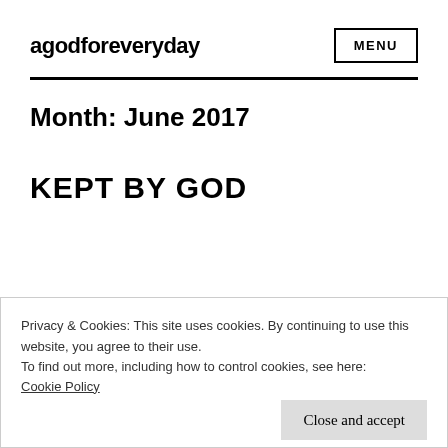agodforeveryday
Month: June 2017
KEPT BY GOD
Privacy & Cookies: This site uses cookies. By continuing to use this website, you agree to their use.
To find out more, including how to control cookies, see here:
Cookie Policy
Close and accept